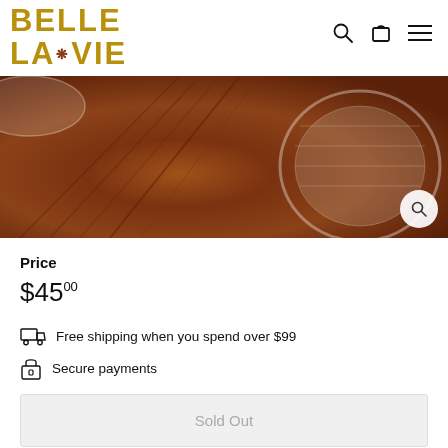BELLE LA•VIE
[Figure (photo): Close-up photo of decorative glass bowl on wooden surface with dark wood grain visible]
Price
$45.00
Free shipping when you spend over $99
Secure payments
Sold Out